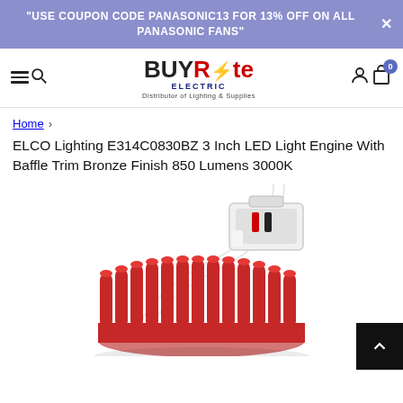"USE COUPON CODE PANASONIC13 FOR 13% OFF ON ALL PANASONIC FANS"
[Figure (logo): BuyRite Electric logo - Distributor of Lighting & Supplies]
Home >
ELCO Lighting E314C0830BZ 3 Inch LED Light Engine With Baffle Trim Bronze Finish 850 Lumens 3000K
[Figure (photo): Product photo of ELCO Lighting E314C0830BZ LED light engine showing white wire connector and red cylindrical heat sink fins]